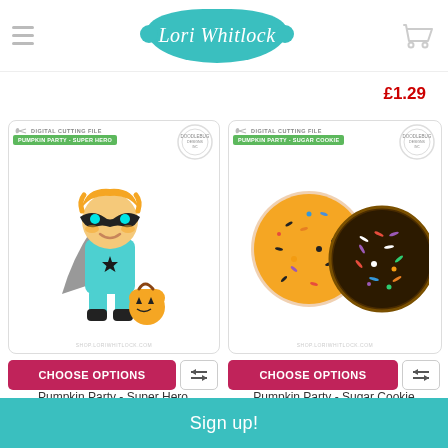Lori Whitlock
£1.29
[Figure (illustration): Digital cutting file product card for Pumpkin Party - Super Hero: a cartoon boy with blonde hair wearing a superhero mask and teal costume with a star, gray cape, black boots, holding an orange pumpkin trick-or-treat bucket. Green label reads PUMPKIN PARTY - SUPER HERO.]
CHOOSE OPTIONS
Pumpkin Party - Super Hero
Doodlebug
[Figure (illustration): Digital cutting file product card for Pumpkin Party - Sugar Cookie: two round decorated cookies, one orange with colorful sprinkles and one dark/black with colorful sprinkles. Green label reads PUMPKIN PARTY - SUGAR COOKIE.]
CHOOSE OPTIONS
Pumpkin Party - Sugar Cookie
Doodlebug
Sign up!